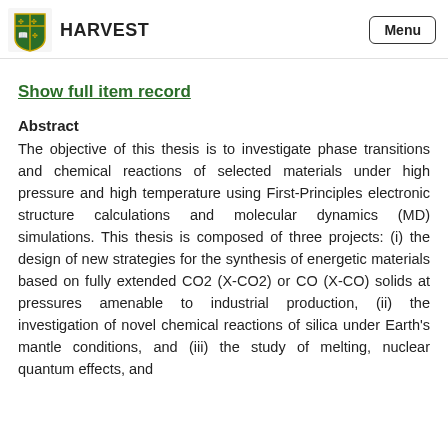HARVEST  Menu
Show full item record
Abstract
The objective of this thesis is to investigate phase transitions and chemical reactions of selected materials under high pressure and high temperature using First-Principles electronic structure calculations and molecular dynamics (MD) simulations. This thesis is composed of three projects: (i) the design of new strategies for the synthesis of energetic materials based on fully extended CO2 (X-CO2) or CO (X-CO) solids at pressures amenable to industrial production, (ii) the investigation of novel chemical reactions of silica under Earth's mantle conditions, and (iii) the study of melting, nuclear quantum effects, and